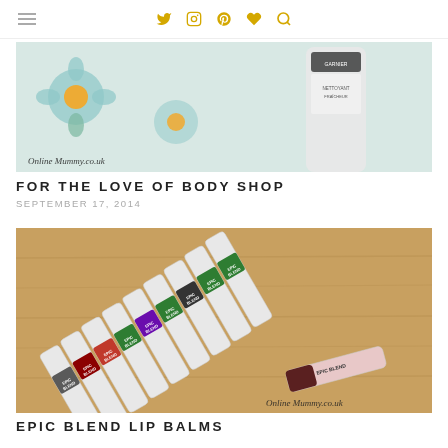navigation icons: menu, twitter, instagram, pinterest, heart, search
[Figure (photo): Photo of a Body Shop face cleanser tube against a floral wallpaper background with blue flowers, watermarked Online Mummy.co.uk]
FOR THE LOVE OF BODY SHOP
SEPTEMBER 17, 2014
[Figure (photo): Photo of multiple Epic Blend lip balm sticks arranged on a wooden surface, watermarked Online Mummy.co.uk]
EPIC BLEND LIP BALMS